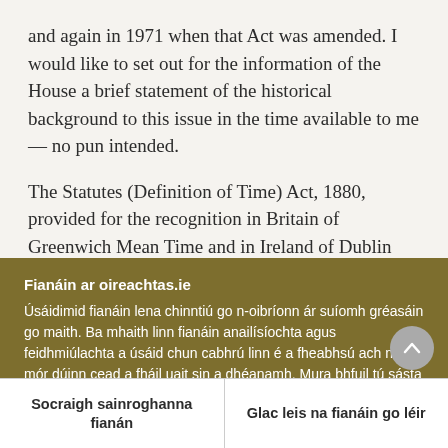and again in 1971 when that Act was amended. I would like to set out for the information of the House a brief statement of the historical background to this issue in the time available to me — no pun intended.
The Statutes (Definition of Time) Act, 1880, provided for the recognition in Britain of Greenwich Mean Time and in Ireland of Dublin Mean Time which was [text cut off]
Fianáin ar oireachtas.ie
Úsáidimid fianáin lena chinntiú go n-oibríonn ár suíomh gréasáin go maith. Ba mhaith linn fianáin anailísíochta agus feidhmiúlachta a úsáid chun cabhrú linn é a fheabhsú ach ní mór dúinn cead a fháil uait sin a dhéanamh. Mura bhfuil tú sásta cead a thabhairt, ní úsáidfear ach fianáin riachtanacha. Léigh tuileadh faoinár bhfianáin
Socraigh sainroghanna fianán
Glac leis na fianáin go léir